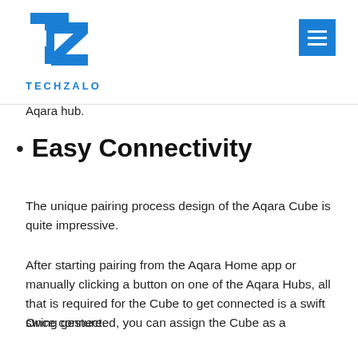TECHZALO
Aqara hub.
Easy Connectivity
The unique pairing process design of the Aqara Cube is quite impressive.
After starting pairing from the Aqara Home app or manually clicking a button on one of the Aqara Hubs, all that is required for the Cube to get connected is a swift swing gesture.
Once connected, you can assign the Cube as a